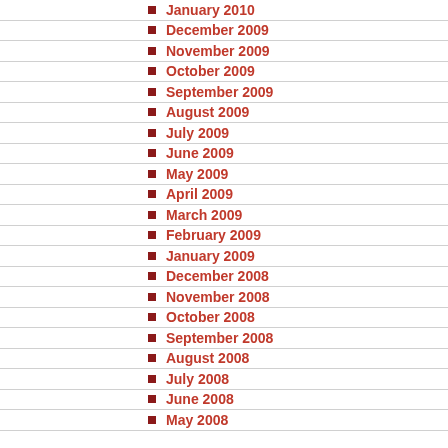January 2010
December 2009
November 2009
October 2009
September 2009
August 2009
July 2009
June 2009
May 2009
April 2009
March 2009
February 2009
January 2009
December 2008
November 2008
October 2008
September 2008
August 2008
July 2008
June 2008
May 2008